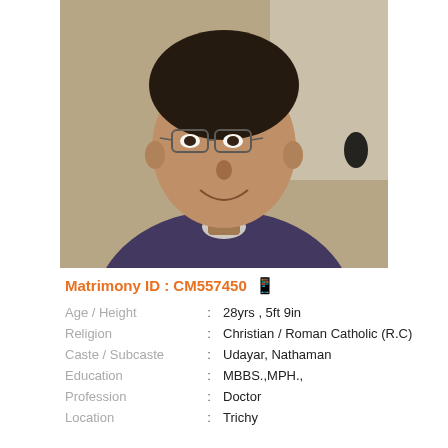[Figure (photo): Portrait photo of a young man wearing glasses, a dark blue/purple sweater over a light collared shirt, smiling at the camera. Background is light beige/cream wall.]
Matrimony ID : CM557450
Age / Height : 28yrs , 5ft 9in
Religion : Christian / Roman Catholic (R.C)
Caste / Subcaste : Udayar, Nathaman
Education : MBBS.,MPH.,
Profession : Doctor
Location : Trichy